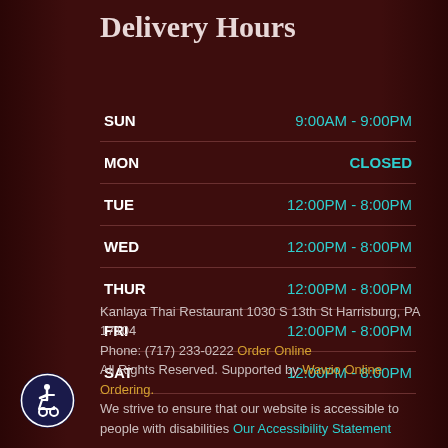Delivery Hours
| Day | Hours |
| --- | --- |
| SUN | 9:00AM - 9:00PM |
| MON | CLOSED |
| TUE | 12:00PM - 8:00PM |
| WED | 12:00PM - 8:00PM |
| THUR | 12:00PM - 8:00PM |
| FRI | 12:00PM - 8:00PM |
| SAT | 12:00PM - 8:00PM |
Kanlaya Thai Restaurant 1030 S 13th St Harrisburg, PA 17104
Phone: (717) 233-0222 Order Online
All Rights Reserved. Supported by Wawio Online Ordering.
We strive to ensure that our website is accessible to people with disabilities Our Accessibility Statement